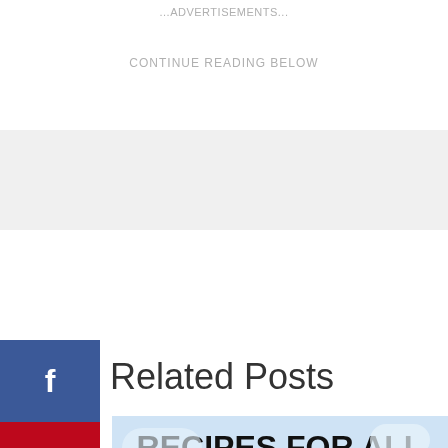...ADVERTISEMENTS...
CONTINUE READING BELOW
Related Posts
[Figure (infographic): Infographic titled 'RECIPES FOR ALL DAYS' with a light blue background and clouds, and a purple box with 'ANY QUESTIONS' text and 'FAQ' on the right side.]